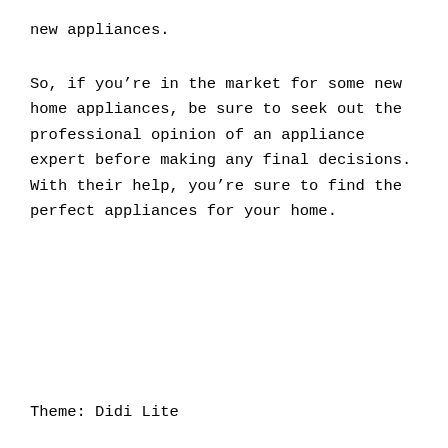new appliances.
So, if you’re in the market for some new home appliances, be sure to seek out the professional opinion of an appliance expert before making any final decisions. With their help, you’re sure to find the perfect appliances for your home.
Theme: Didi Lite